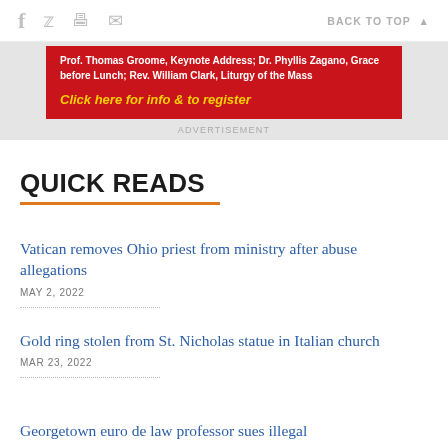f  [twitter] [print] [mail]   BACK TO TOP
[Figure (other): Red advertisement banner with white bold text: Prof. Thomas Groome, Keynote Address; Dr. Phyllis Zagano, Grace before Lunch; Rev. William Clark, Liturgy of the Mass. Yellow italic bold text: Click here for info & to register]
ADVERTISEMENT
QUICK READS
Vatican removes Ohio priest from ministry after abuse allegations
MAY 2, 2022
Gold ring stolen from St. Nicholas statue in Italian church
MAR 23, 2022
Georgetown euro de law professor sues illegal